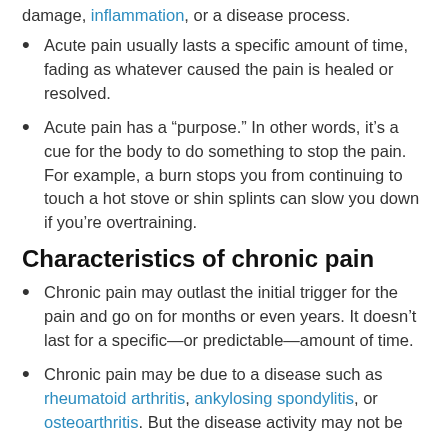damage, inflammation, or a disease process.
Acute pain usually lasts a specific amount of time, fading as whatever caused the pain is healed or resolved.
Acute pain has a “purpose.” In other words, it’s a cue for the body to do something to stop the pain. For example, a burn stops you from continuing to touch a hot stove or shin splints can slow you down if you’re overtraining.
Characteristics of chronic pain
Chronic pain may outlast the initial trigger for the pain and go on for months or even years. It doesn’t last for a specific—or predictable—amount of time.
Chronic pain may be due to a disease such as rheumatoid arthritis, ankylosing spondylitis, or osteoarthritis. But the disease activity may not be